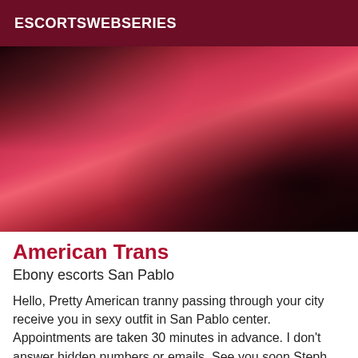ESCORTSWEBSERIES
[Figure (photo): A person wearing a pink and black lace outfit, photographed in dim reddish lighting.]
American Trans
Ebony escorts San Pablo
Hello, Pretty American tranny passing through your city receive you in sexy outfit in San Pablo center. Appointments are taken 30 minutes in advance. I don't answer hidden numbers or emails. See you soon Steph